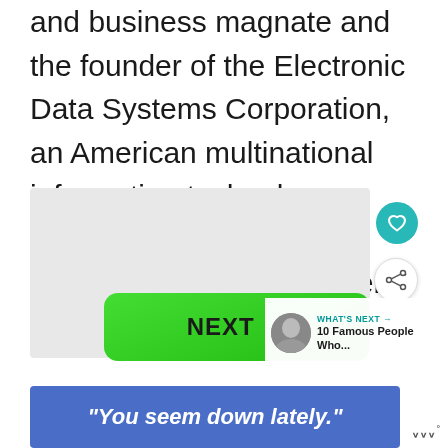and business magnate and the founder of the Electronic Data Systems Corporation, an American multinational information technology services and equipment company with headquarters in Plano, Texas.
[Figure (screenshot): Interactive content area with a green NEXT button with arrow, a teal heart/favorite button, a share button, and a 'What's Next' panel showing a thumbnail of a person and text '10 Famous People Who...']
[Figure (infographic): Blue advertisement banner with italic white text: "You seem down lately." and a logo mark on the right]